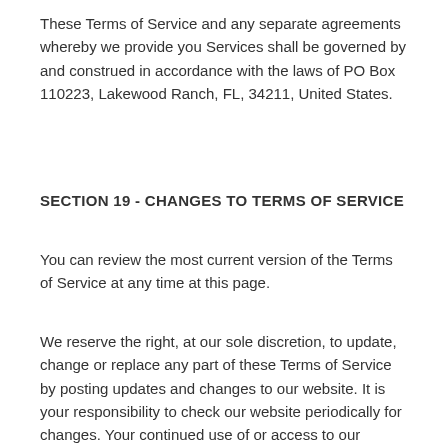These Terms of Service and any separate agreements whereby we provide you Services shall be governed by and construed in accordance with the laws of PO Box 110223, Lakewood Ranch, FL, 34211, United States.
SECTION 19 - CHANGES TO TERMS OF SERVICE
You can review the most current version of the Terms of Service at any time at this page.
We reserve the right, at our sole discretion, to update, change or replace any part of these Terms of Service by posting updates and changes to our website. It is your responsibility to check our website periodically for changes. Your continued use of or access to our website or the Service following the posting of any changes to these Terms of Service constitutes acceptance of those changes.